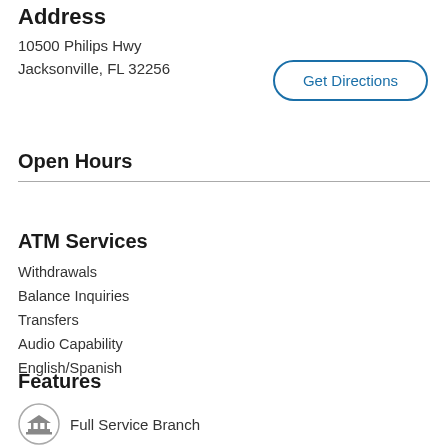Address
10500 Philips Hwy
Jacksonville, FL 32256
[Figure (other): Get Directions button with rounded border in blue]
Open Hours
ATM Services
Withdrawals
Balance Inquiries
Transfers
Audio Capability
English/Spanish
Features
Full Service Branch